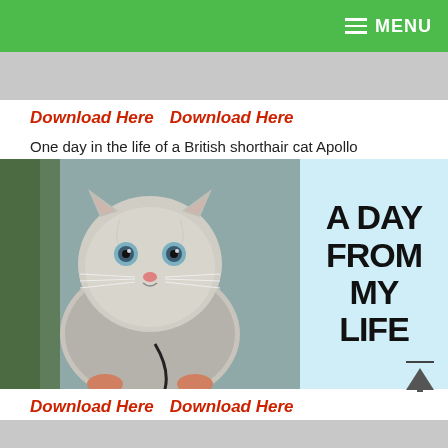MENU
[Figure (photo): Gray banner placeholder image at top]
Download Here  Download Here
One day in the life of a British shorthair cat Apollo
[Figure (photo): British shorthair cat Apollo on a leash outdoors, next to a light blue panel with text reading A DAY FROM MY LIFE in bold black letters]
Download Here   Download Here
Award Winning, Dermatologist Skin Care Line Dr. Loretta
[Figure (photo): Gray banner at bottom]